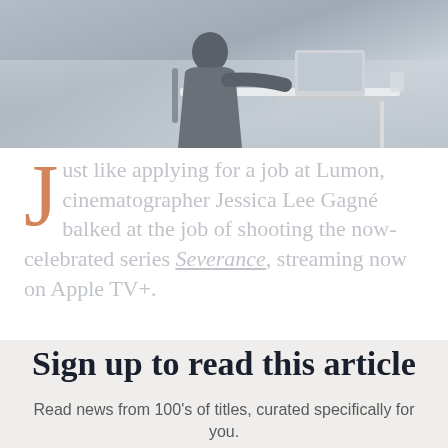[Figure (photo): A person in a grey blazer sitting at a white desk working on a laptop, viewed from the side. The background is light grey/blue-toned.]
Just like applying for a job at Lumon, cinematographer Jessica Lee Gagné balked at the job of shooting the now-celebrated series Severance, streaming now on Apple TV+.
Sign up to read this article
Read news from 100's of titles, curated specifically for you.